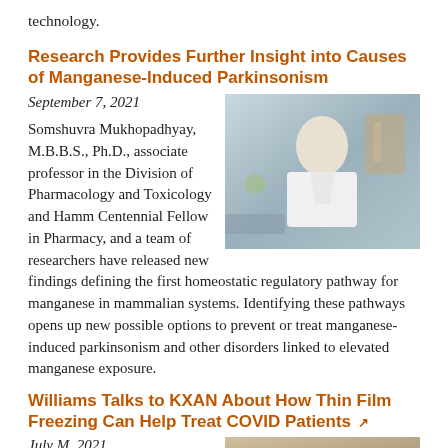technology.
Research Provides Further Insight into Causes of Manganese-Induced Parkinsonism
September 7, 2021
[Figure (photo): Somshuvra Mukhopadhyay in a lab coat standing in a laboratory setting]
Somshuvra Mukhopadhyay, M.B.B.S., Ph.D., associate professor in the Division of Pharmacology and Toxicology and Hamm Centennial Fellow in Pharmacy, and a team of researchers have released new findings defining the first homeostatic regulatory pathway for manganese in mammalian systems. Identifying these pathways opens up new possible options to prevent or treat manganese-induced parkinsonism and other disorders linked to elevated manganese exposure.
Williams Talks to KXAN About How Thin Film Freezing Can Help Treat COVID Patients
July M, 2021